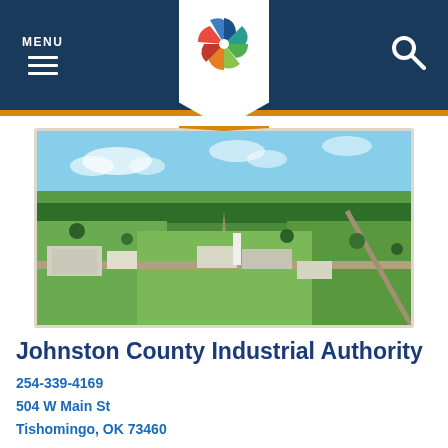MENU
[Figure (photo): Aerial photograph of Johnston County industrial area showing green fields, roads, and industrial buildings from a bird's-eye view under a clear blue sky]
Johnston County Industrial Authority
254-339-4169
504 W Main St
Tishomingo, OK 73460
The Johnston County Industrial Authority